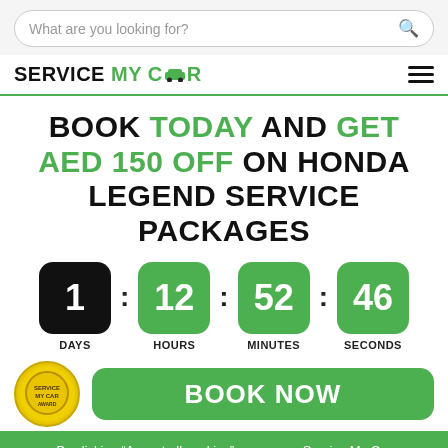[Figure (screenshot): Search bar with placeholder text 'What are you looking for?' and a search icon]
[Figure (logo): Service My Car logo with hamburger menu icon]
BOOK TODAY AND GET AED 150 OFF ON HONDA LEGEND SERVICE PACKAGES
[Figure (infographic): Countdown timer showing 1 DAYS : 12 HOURS : 52 MINUTES : 46 SECONDS]
[Figure (infographic): Award badge and BOOK NOW button partially visible]
By clicking “Accept all cookies”, you agree Service My Car can store cookies on your device and disclose information in accordance with our Privacy Policy.